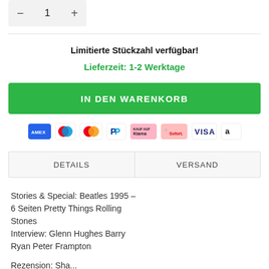[Figure (other): Quantity selector showing minus button, number 1, and plus button on a grey background]
Limitierte Stückzahl verfügbar!
Lieferzeit: 1-2 Werktage
[Figure (other): Green 'IN DEN WARENKORB' add to cart button]
[Figure (other): Payment method icons: Amex, Maestro, Mastercard, PayPal, Klarna, Sofort, Visa, Amazon Pay]
| DETAILS | VERSAND |
| --- | --- |
Stories & Special: Beatles 1995 – 6 Seiten Pretty Things Rolling Stones
Interview: Glenn Hughes Barry Ryan Peter Frampton
Rezension: Sha...